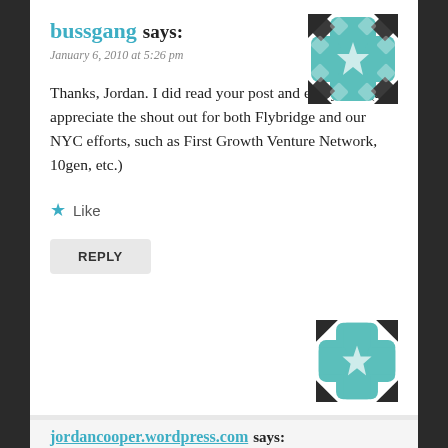bussgang says:
January 6, 2010 at 5:26 pm
[Figure (illustration): Teal decorative cross/star pattern avatar icon for bussgang]
Thanks, Jordan. I did read your post and enjoyed it (and appreciate the shout out for both Flybridge and our NYC efforts, such as First Growth Venture Network, 10gen, etc.)
Like
REPLY
[Figure (illustration): Teal decorative cross/star pattern avatar icon for jordancooper.wordpress.com]
jordancooper.wordpress.com says: